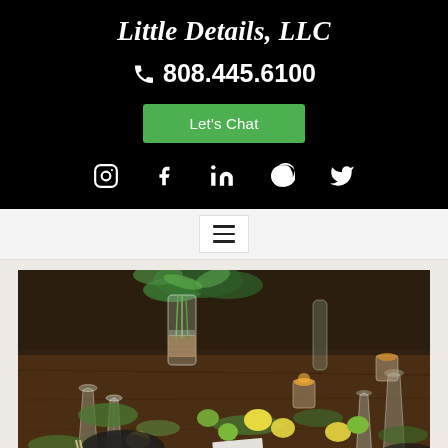Little Details, LLC
808.445.6100
Let's Chat
[Figure (infographic): Social media icons row: Instagram, Facebook, LinkedIn, Pinterest, Twitter (white icons on black background)]
[Figure (infographic): Hamburger/navigation menu icon (three horizontal lines) on light grey navigation bar]
[Figure (photo): Elegant table setting with champagne flutes, glass vases with greenery, lemons, limes, moss, candlelight, dark wood table, rustic botanical wedding or event decor]